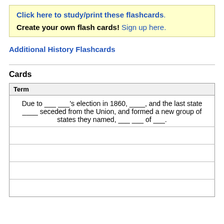Click here to study/print these flashcards. Create your own flash cards! Sign up here.
Additional History Flashcards
Cards
| Term |
| --- |
| Due to ___ ___'s election in 1860, ____, and the last state ____ seceded from the Union, and formed a new group of states they named, ___ ___ of ___. |
|  |
|  |
|  |
|  |